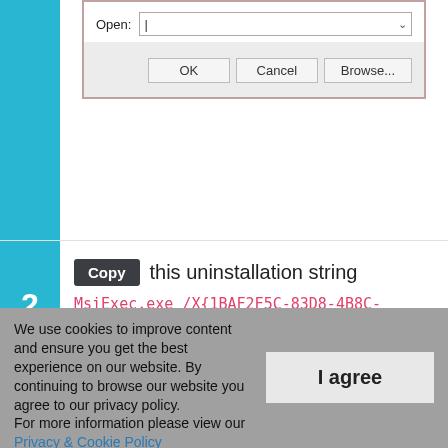[Figure (screenshot): Windows Run dialog box showing Open field with dropdown arrow, and OK, Cancel, Browse buttons, outlined in red/pink border]
Copy this uninstallation string
MsiExec.exe /X{1BAF2F5C-83D8-4B8C-A602-4C9E2F33A0C3}
and paste it in the Run command
We use cookies to improve content and ensure you get the best experience on our website. By continuing to browse our website you agree to our privacy policy.
For more information please view our Privacy & Cookie Policy